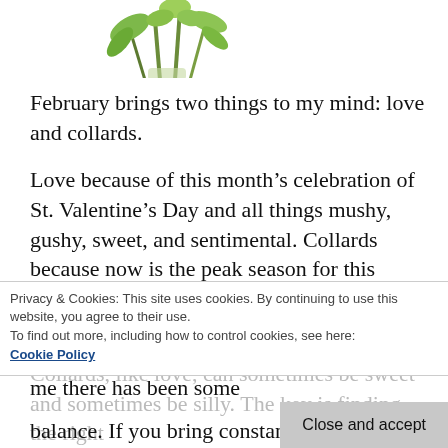[Figure (illustration): Partial illustration of a green vegetable (likely artichoke or collard greens) at top of page, cropped, showing leafy green stems against white background]
February brings two things to my mind: love and collards.
Love because of this month’s celebration of St. Valentine’s Day and all things mushy, gushy, sweet, and sentimental. Collards because now is the peak season for this mighty green, my personal favorite of all the greens in the green family. And as I have contemplated love and collards. and believe me there has been some
Privacy & Cookies: This site uses cookies. By continuing to use this website, you agree to their use.
To find out more, including how to control cookies, see here:
Cookie Policy
Collards, like love, can sometimes be sweet and sometimes be silly. The key is finding the right balance. If you bring constant contention to the